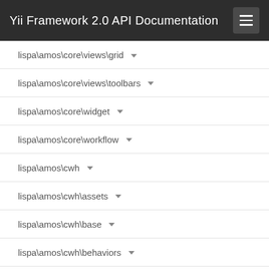Yii Framework 2.0 API Documentation
lispa\amos\core\views\grid
lispa\amos\core\views\toolbars
lispa\amos\core\widget
lispa\amos\core\workflow
lispa\amos\cwh
lispa\amos\cwh\assets
lispa\amos\cwh\base
lispa\amos\cwh\behaviors
lispa\amos\cwh\components\bootstrap